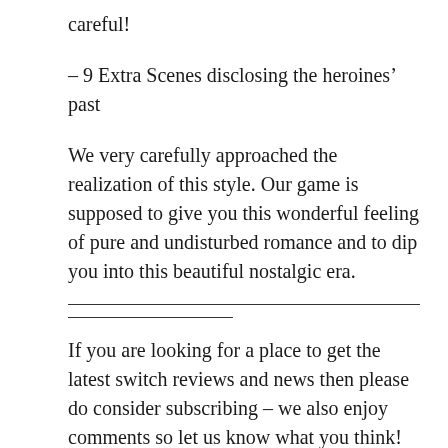careful!
– 9 Extra Scenes disclosing the heroines' past
We very carefully approached the realization of this style. Our game is supposed to give you this wonderful feeling of pure and undisturbed romance and to dip you into this beautiful nostalgic era.
If you are looking for a place to get the latest switch reviews and news then please do consider subscribing – we also enjoy comments so let us know what you think!